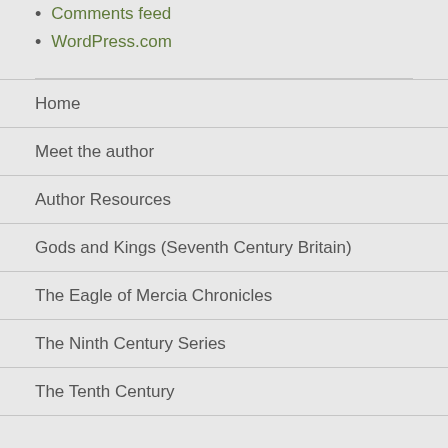Comments feed
WordPress.com
Home
Meet the author
Author Resources
Gods and Kings (Seventh Century Britain)
The Eagle of Mercia Chronicles
The Ninth Century Series
The Tenth Century